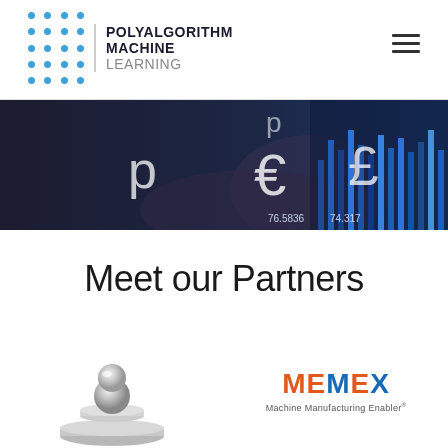[Figure (logo): Polyalgorithm Machine Learning logo with blue dot grid and text]
[Figure (photo): Banner photo showing financial currency symbols (рубль, euro, pound) with glowing blue financial chart overlay on dark background with numbers 76.5836 74.317]
Meet our Partners
[Figure (logo): 3D silver/chrome robot or machine figure logo on left side]
[Figure (logo): MEMEX logo in orange and blue with tagline below]